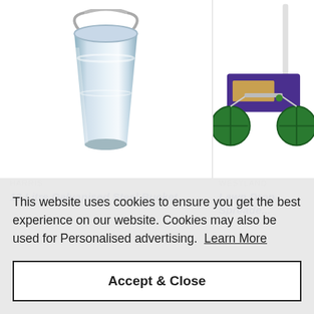[Figure (photo): Galvanised steel bucket product image - silver metallic bucket with handle]
HARRIS
13 Litre Galvanised Steel Bucket
[Figure (photo): Lawn drop spreader product image - purple and green wheeled garden spreader]
WESTLAND
Lawn Drop Spreade...
This website uses cookies to ensure you get the best experience on our website. Cookies may also be used for Personalised advertising.  Learn More
Accept & Close